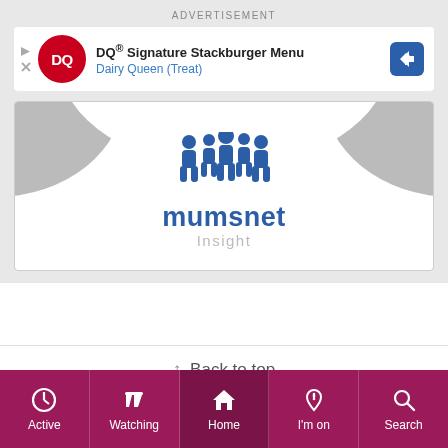ADVERTISEMENT
[Figure (screenshot): Dairy Queen advertisement banner showing DQ logo, 'DQ® Signature Stackburger Menu' title and 'Dairy Queen (Treat)' subtitle with navigation arrow button]
[Figure (logo): Mumsnet Insight logo with stylized group of people silhouette in blue and 'mumsnet Insight' text]
↑ Back to top
[Figure (logo): Gransnet logo showing silhouette figures in dark pink/maroon with 'GRANSNET' text on a banner]
Active | Watching | Home | I'm on | Search